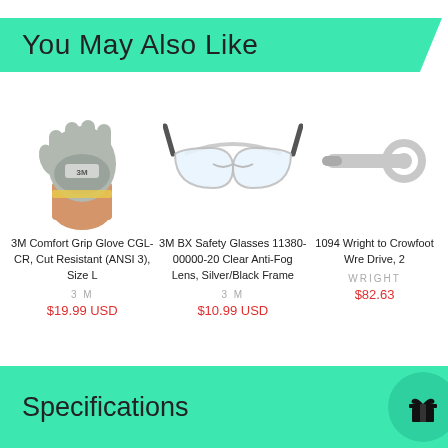You May Also Like
[Figure (photo): 3M Comfort Grip Glove being worn on a hand, gray and white glove]
3M Comfort Grip Glove CGL-CR, Cut Resistant (ANSI 3), Size L
3 M
$19.99 USD
[Figure (photo): 3M BX Safety Glasses with clear anti-fog lens and silver/black frame]
3M BX Safety Glasses 11380-00000-20 Clear Anti-Fog Lens, Silver/Black Frame
3 M
$10.99 USD
[Figure (photo): Wright tool crowfoot wrench - partially visible]
1094 Wright to Crowfoot Wre Drive, 2
WRIGHT
$82.63
Specifications